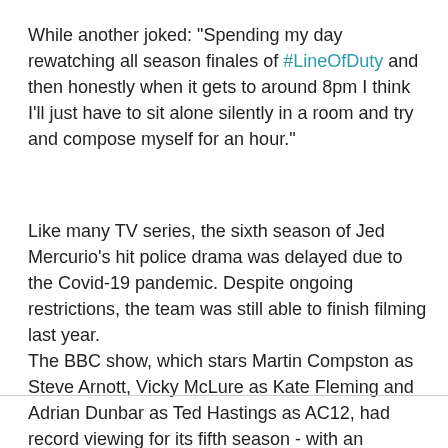While another joked: "Spending my day rewatching all season finales of #LineOfDuty and then honestly when it gets to around 8pm I think I'll just have to sit alone silently in a room and try and compose myself for an hour."
Like many TV series, the sixth season of Jed Mercurio's hit police drama was delayed due to the Covid-19 pandemic. Despite ongoing restrictions, the team was still able to finish filming last year.
The BBC show, which stars Martin Compston as Steve Arnott, Vicky McLure as Kate Fleming and Adrian Dunbar as Ted Hastings as AC12, had record viewing for its fifth season - with an average peak of 12.34 to 13.67 million viewers per episode.